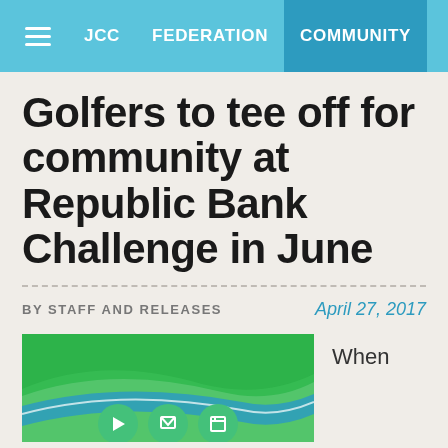JCC   FEDERATION   COMMUNITY
Golfers to tee off for community at Republic Bank Challenge in June
BY STAFF AND RELEASES
April 27, 2017
[Figure (photo): Green and blue curved banner graphic for Republic Bank Challenge golf event, with social media share icons below]
When